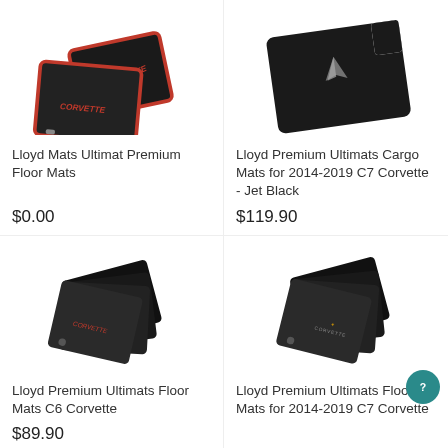[Figure (photo): Two black floor mats with red border and red Corvette script logo, overlapping each other at an angle]
Lloyd Mats Ultimat Premium Floor Mats
$0.00
[Figure (photo): Single black cargo mat with silver Corvette V emblem logo, viewed from above at an angle]
Lloyd Premium Ultimats Cargo Mats for 2014-2019 C7 Corvette - Jet Black
$119.90
[Figure (photo): Four black floor mats with small red Corvette script logos, fanned out at an angle]
Lloyd Premium Ultimats Floor Mats C6 Corvette
$89.90
[Figure (photo): Four black floor mats with gold/copper Corvette cross-flag logos and Corvette text, fanned out at an angle]
Lloyd Premium Ultimats Floor Mats for 2014-2019 C7 Corvette